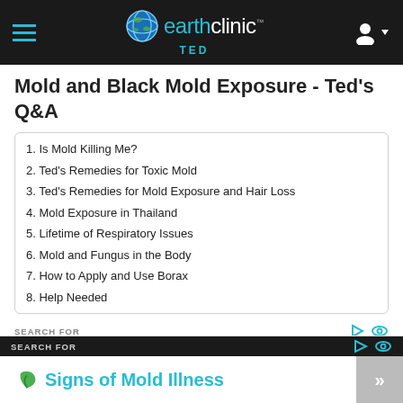earthclinic TED
Mold and Black Mold Exposure - Ted's Q&A
1. Is Mold Killing Me?
2. Ted's Remedies for Toxic Mold
3. Ted's Remedies for Mold Exposure and Hair Loss
4. Mold Exposure in Thailand
5. Lifetime of Respiratory Issues
6. Mold and Fungus in the Body
7. How to Apply and Use Borax
8. Help Needed
SEARCH FOR
Signs of Mold Illness
SEARCH FOR
Signs of Mold Illness